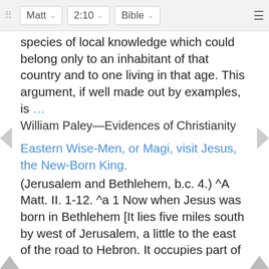⠿  Matt ∨  2:10 ∨  Bible ∨  ≡
species of local knowledge which could belong only to an inhabitant of that country and to one living in that age. This argument, if well made out by examples, is …
William Paley—Evidences of Christianity
Eastern Wise-Men, or Magi, visit Jesus, the New-Born King.
(Jerusalem and Bethlehem, b.c. 4.) ^A Matt. II. 1-12. ^a 1 Now when Jesus was born in Bethlehem [It lies five miles south by west of Jerusalem, a little to the east of the road to Hebron. It occupies part of the summit and sides of a narrow limestone ridge which shoots out eastward from the central chains of the Judæan mountains, and breaks down abruptly into deep valleys on the north, south, and east. Its old name, Ephrath, meant "the fruitful." Bethlehem means "house of bread." Its modern …